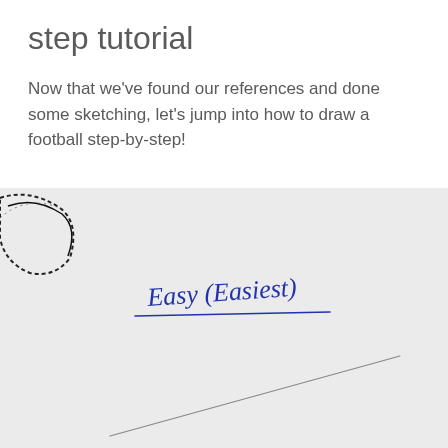step tutorial
Now that we've found our references and done some sketching, let's jump into how to draw a football step-by-step!
[Figure (photo): A close-up photo of a hand-drawn sketch on white paper. In the upper left corner is a partial circle with dashed and solid lines suggesting a football outline. In the center is a handwritten label in blue ink reading 'Easy (Easiest)' with a horizontal underline beneath it. In the lower portion of the image is a diagonal pencil line drawn across the paper from lower-left to upper-right.]